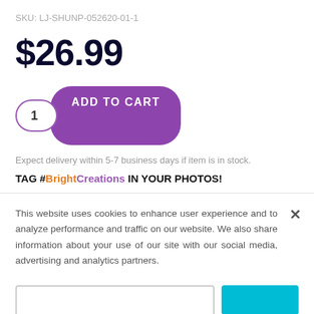SKU: LJ-SHUNP-052620-01-1
$26.99
1  ADD TO CART
Expect delivery within 5-7 business days if item is in stock.
TAG #BrightCreations IN YOUR PHOTOS!
This website uses cookies to enhance user experience and to analyze performance and traffic on our website. We also share information about your use of our site with our social media, advertising and analytics partners.